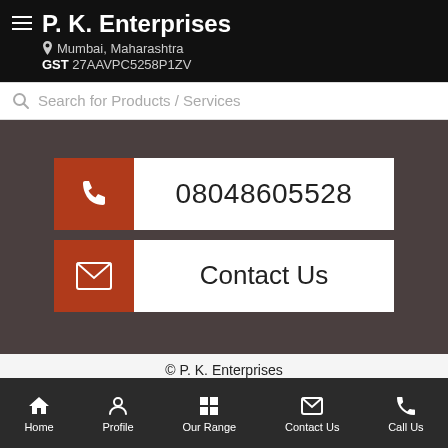P. K. Enterprises
Mumbai, Maharashtra
GST 27AAVPC5258P1ZV
Search for Products / Services
08048605528
Contact Us
© P. K. Enterprises
Share via :
Home  Profile  Our Range  Contact Us  Call Us